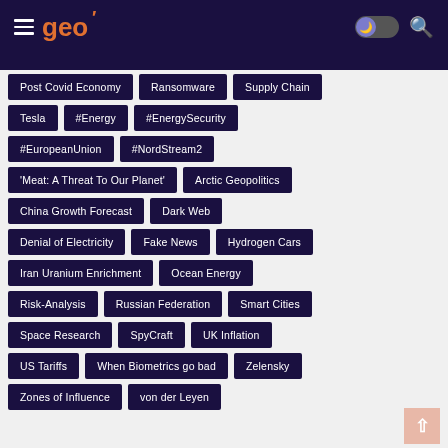geo
Post Covid Economy
Ransomware
Supply Chain
Tesla
#Energy
#EnergySecurity
#EuropeanUnion
#NordStream2
'Meat: A Threat To Our Planet'
Arctic Geopolitics
China Growth Forecast
Dark Web
Denial of Electricity
Fake News
Hydrogen Cars
Iran Uranium Enrichment
Ocean Energy
Risk-Analysis
Russian Federation
Smart Cities
Space Research
SpyCraft
UK Inflation
US Tariffs
When Biometrics go bad
Zelensky
Zones of Influence
von der Leyen